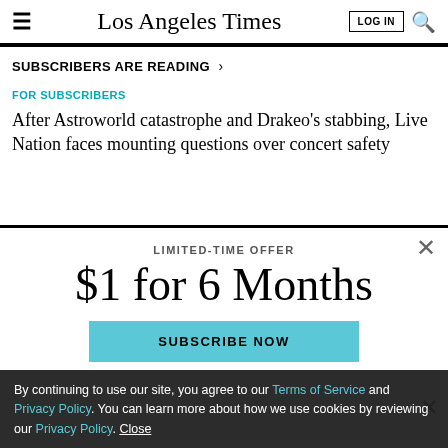Los Angeles Times
SUBSCRIBERS ARE READING >
FOR SUBSCRIBERS
After Astroworld catastrophe and Drakeo's stabbing, Live Nation faces mounting questions over concert safety
LIMITED-TIME OFFER
$1 for 6 Months
SUBSCRIBE NOW
By continuing to use our site, you agree to our Terms of Service and Privacy Policy. You can learn more about how we use cookies by reviewing our Privacy Policy. Close